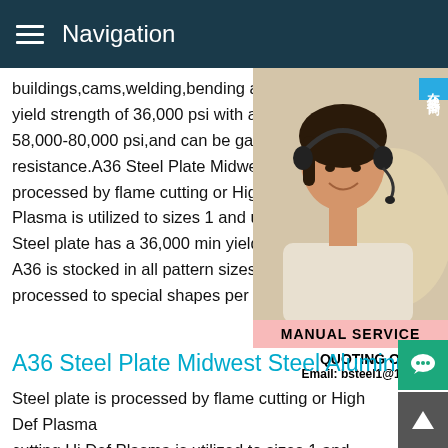Navigation
buildings,cams,welding,bending and fabric yield strength of 36,000 psi with an ultimat 58,000-80,000 psi,and can be galvanized resistance.A36 Steel Plate Midwest Steel A processed by flame cutting or High Def Pla Plasma is utilized to sizes 1 and under,ove Steel plate has a 36,000 min yield strength A36 is stocked in all pattern sizes up to 96 processed to special shapes per print.
[Figure (photo): Customer service representative woman wearing headset, smiling, with Chinese online consultation label overlay reading 在线咨询 and service panel showing MANUAL SERVICE, QUOTING ONLINE, Email: bsteel1@163.com]
A36 Steel Plate Midwest Steel Aluminum
Steel plate is processed by flame cutting or High Def Plasma cutting.Hi Def Plasma is utilized to sizes 1 and under,over 1 is flame cut.A36 Steel plate has a 36,000 min yield strength.Steel Plate.Steel plate A36 is stocked in all pattern sizes up to 96 x and can be processed to special shapes per